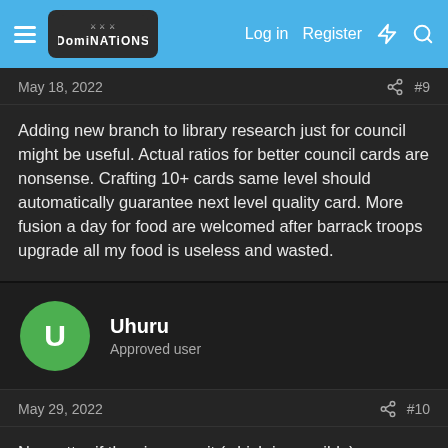DomiNations forum header with Log in, Register, and icon links
May 18, 2022   #9
Adding new branch to library research just for council might be useful. Actual ratios for better council cards are nonsense. Crafting 10+ cards same level should automatically guarantee next level quality card. More fusion a day for food are welcomed after barrack troops upgrade all my food is useless and wasted.
Uhuru
Approved user
May 29, 2022   #10
No matter if they improve it (which is possible), personally I am disgusted by the very idea of fusion councilors, it is primitive to the point of nausea.. it has no place in this game. They must to use another mechanism to improve the councilors from one another, it is just not right that the